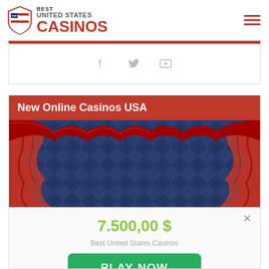Best United States Casinos
[Figure (illustration): Social media icons: Facebook, Twitter, YouTube on white bar with red top border]
New Online Casinos USA
[Figure (photo): Casino stage with red velvet curtains and blue diamond-pattern background]
7.500,00 $
Best United States Casinos
PLAY NOW